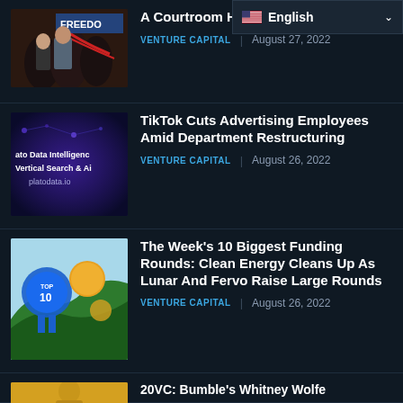English
A Courtroom Hampshire
VENTURE CAPITAL | August 27, 2022
TikTok Cuts Advertising Employees Amid Department Restructuring
VENTURE CAPITAL | August 26, 2022
The Week's 10 Biggest Funding Rounds: Clean Energy Cleans Up As Lunar And Fervo Raise Large Rounds
VENTURE CAPITAL | August 26, 2022
20VC: Bumble's Whitney Wolfe